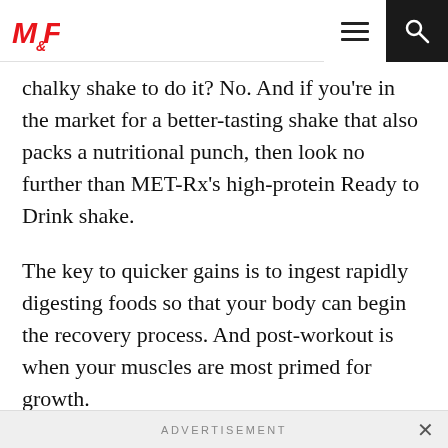M&F logo, hamburger menu, search button
chalky shake to do it? No. And if you're in the market for a better-tasting shake that also packs a nutritional punch, then look no further than MET-Rx's high-protein Ready to Drink shake.
The key to quicker gains is to ingest rapidly digesting foods so that your body can begin the recovery process. And post-workout is when your muscles are most primed for growth.
What you need is a fast-absorbing shake, like
ADVERTISEMENT ×